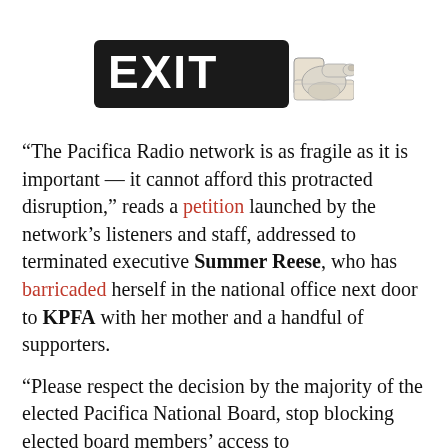[Figure (illustration): An EXIT sign — a black rectangular sign with white bold letters reading EXIT, attached to a pointing hand/finger illustration pointing to the right.]
“The Pacifica Radio network is as fragile as it is important — it cannot afford this protracted disruption,” reads a petition launched by the network’s listeners and staff, addressed to terminated executive Summer Reese, who has barricaded herself in the national office next door to KPFA with her mother and a handful of supporters.
“Please respect the decision by the majority of the elected Pacifica National Board, stop blocking elected board members’ access to